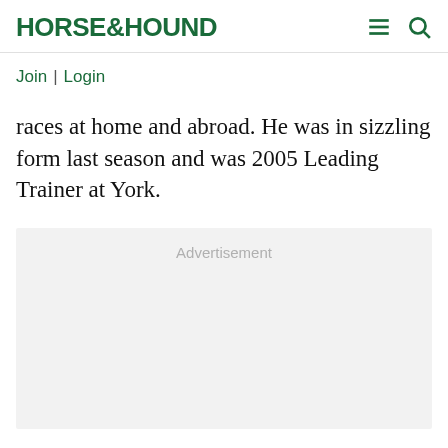HORSE&HOUND
Join | Login
races at home and abroad. He was in sizzling form last season and was 2005 Leading Trainer at York.
[Figure (other): Advertisement placeholder box]